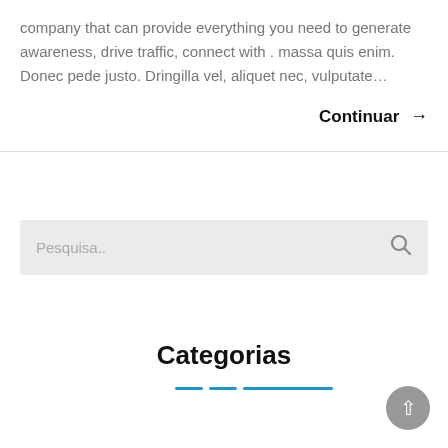company that can provide everything you need to generate awareness, drive traffic, connect with . massa quis enim. Donec pede justo. Dringilla vel, aliquet nec, vulputate…
Continuar →
Pesquisa..
Categorias